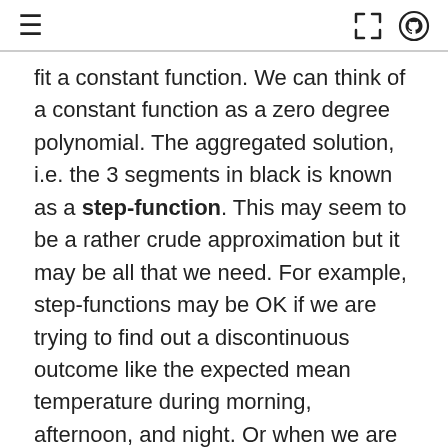≡  [expand icon] [github icon]
fit a constant function. We can think of a constant function as a zero degree polynomial. The aggregated solution, i.e. the 3 segments in black is known as a step-function. This may seem to be a rather crude approximation but it may be all that we need. For example, step-functions may be OK if we are trying to find out a discontinuous outcome like the expected mean temperature during morning, afternoon, and night. Or when we are OK about getting a non-smooth approximation even if we think the outcome is smooth [3].
In the second panel (piecewise linear) we do the same as in the first but instead of a constant function we use a linear function, which is a first degree polynomial. Notice that the contiguous linear solutions meet at the dashed lines, this is done on purpose. We could justify this